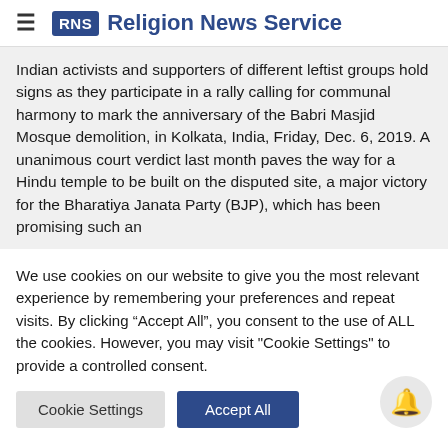RNS Religion News Service
Indian activists and supporters of different leftist groups hold signs as they participate in a rally calling for communal harmony to mark the anniversary of the Babri Masjid Mosque demolition, in Kolkata, India, Friday, Dec. 6, 2019. A unanimous court verdict last month paves the way for a Hindu temple to be built on the disputed site, a major victory for the Bharatiya Janata Party (BJP), which has been promising such an
We use cookies on our website to give you the most relevant experience by remembering your preferences and repeat visits. By clicking “Accept All”, you consent to the use of ALL the cookies. However, you may visit "Cookie Settings" to provide a controlled consent.